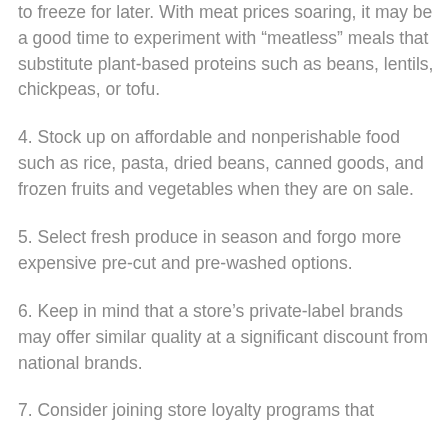specials for beef, chicken, and pork, so you may want to plan meals around sale-priced cuts and buy extra to freeze for later. With meat prices soaring, it may be a good time to experiment with “meatless” meals that substitute plant-based proteins such as beans, lentils, chickpeas, or tofu.
4. Stock up on affordable and nonperishable food such as rice, pasta, dried beans, canned goods, and frozen fruits and vegetables when they are on sale.
5. Select fresh produce in season and forgo more expensive pre-cut and pre-washed options.
6. Keep in mind that a store’s private-label brands may offer similar quality at a significant discount from national brands.
7. Consider joining store loyalty programs that